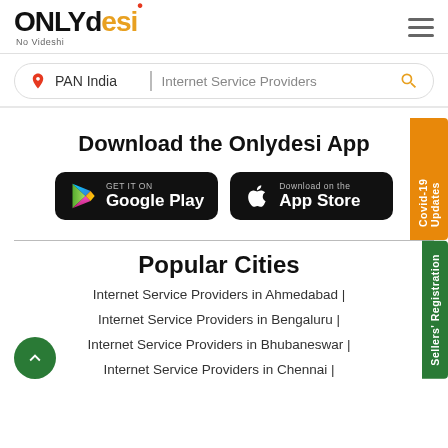ONLYdesi - No Videshi | PAN India | Internet Service Providers
[Figure (screenshot): ONLYdesi logo with orange and red accent, No Videshi tagline, hamburger menu icon, and search bar with PAN India location and Internet Service Providers query]
Download the Onlydesi App
[Figure (infographic): Google Play and App Store download buttons on black rounded rectangles]
Popular Cities
Internet Service Providers in Ahmedabad |
Internet Service Providers in Bengaluru |
Internet Service Providers in Bhubaneswar |
Internet Service Providers in Chennai |